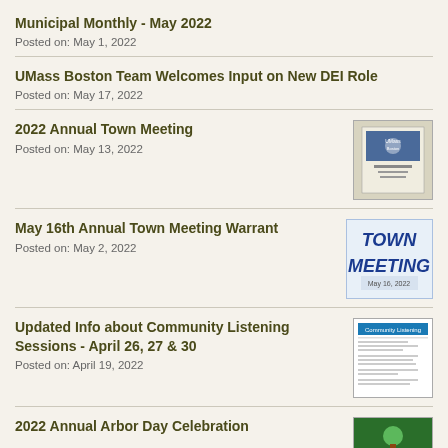Municipal Monthly - May 2022
Posted on: May 1, 2022
UMass Boston Team Welcomes Input on New DEI Role
Posted on: May 17, 2022
2022 Annual Town Meeting
Posted on: May 13, 2022
[Figure (photo): Annual Town Meeting document thumbnail]
May 16th Annual Town Meeting Warrant
Posted on: May 2, 2022
[Figure (photo): Town Meeting logo with blue text saying TOWN MEETING]
Updated Info about Community Listening Sessions - April 26, 27 & 30
Posted on: April 19, 2022
[Figure (photo): Community Listening Sessions document thumbnail]
2022 Annual Arbor Day Celebration
[Figure (photo): Arbor Day green celebration thumbnail]